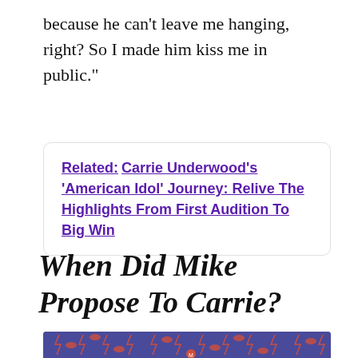because he can’t leave me hanging, right? So I made him kiss me in public.”
Related: Carrie Underwood’s ‘American Idol’ Journey: Relive The Highlights From First Audition To Big Win
When Did Mike Propose To Carrie?
[Figure (illustration): Partial view of a decorative advertisement banner with red/orange lightning bolt and lip kiss patterns on a dark purple/blue background]